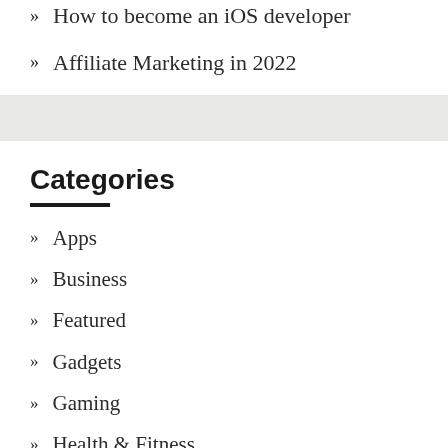How to become an iOS developer
Affiliate Marketing in 2022
Categories
Apps
Business
Featured
Gadgets
Gaming
Health & Fitness